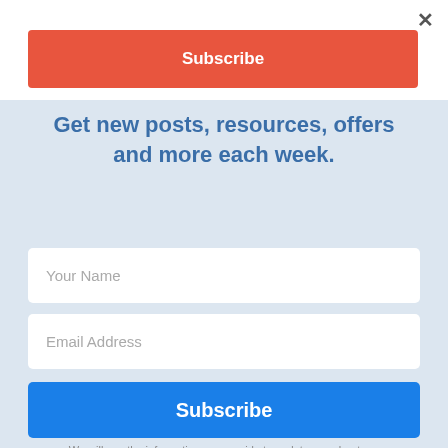×
Subscribe
Get new posts, resources, offers and more each week.
Your Name
Email Address
Subscribe
We will use the information you provide to update you about our